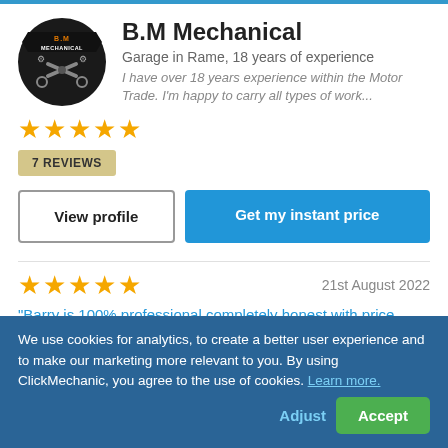[Figure (logo): B.M Mechanical circular logo with wrench tools on black background with orange text]
B.M Mechanical
Garage in Rame, 18 years of experience
I have over 18 years experience within the Motor Trade. I'm happy to carry all types of work...
★★★★★
7 REVIEWS
View profile
Get my instant price
★★★★★
21st August 2022
"Barry is 100% professional completely honest with price quotes. He done what was requested and checked other areas of the car that could be related issues gave solid
We use cookies for analytics, to create a better user experience and to make our marketing more relevant to you. By using ClickMechanic, you agree to the use of cookies. Learn more.
Adjust
Accept